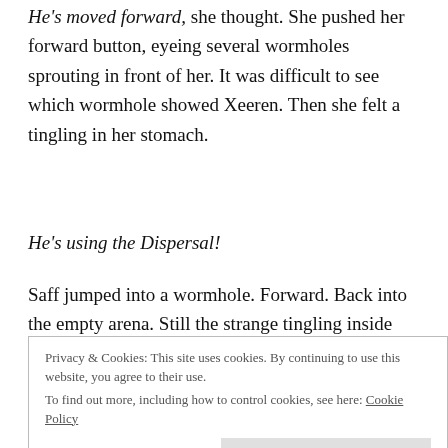He's moved forward, she thought. She pushed her forward button, eyeing several wormholes sprouting in front of her. It was difficult to see which wormhole showed Xeeren. Then she felt a tingling in her stomach.
He's using the Dispersal!
Saff jumped into a wormhole. Forward. Back into the empty arena. Still the strange tingling inside her. He's tracking me. Forward. Again. Backward. She grimaced, feeling pain bloom within her midsection.
Privacy & Cookies: This site uses cookies. By continuing to use this website, you agree to their use.
To find out more, including how to control cookies, see here: Cookie Policy
looked like mirrors all showing the same empty